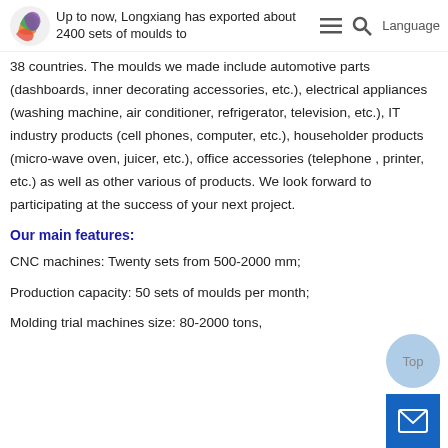Up to now, Longxiang has exported about 2400 sets of moulds to
38 countries. The moulds we made include automotive parts (dashboards, inner decorating accessories, etc.), electrical appliances (washing machine, air conditioner, refrigerator, television, etc.), IT industry products (cell phones, computer, etc.), householder products (micro-wave oven, juicer, etc.), office accessories (telephone , printer, etc.) as well as other various of products. We look forward to participating at the success of your next project.
Our main features:
CNC machines: Twenty sets from 500-2000 mm;
Production capacity: 50 sets of moulds per month;
Molding trial machines size: 80-2000 tons,